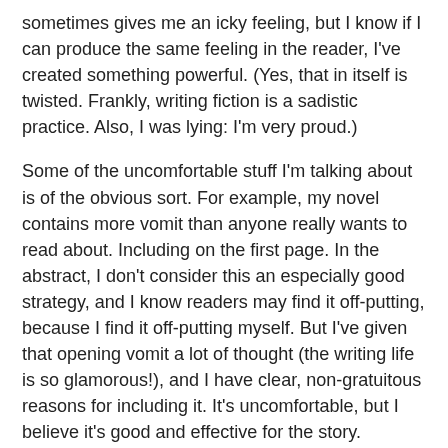sometimes gives me an icky feeling, but I know if I can produce the same feeling in the reader, I've created something powerful. (Yes, that in itself is twisted. Frankly, writing fiction is a sadistic practice. Also, I was lying: I'm very proud.)
Some of the uncomfortable stuff I'm talking about is of the obvious sort. For example, my novel contains more vomit than anyone really wants to read about. Including on the first page. In the abstract, I don't consider this an especially good strategy, and I know readers may find it off-putting, because I find it off-putting myself. But I've given that opening vomit a lot of thought (the writing life is so glamorous!), and I have clear, non-gratuitous reasons for including it. It's uncomfortable, but I believe it's good and effective for the story.
Last week I was contemplating a scene idea that made me uneasy in a very different way. There's a definite individual element to many uncomfortable topics -- some readers may be even more bothered by this story event than I am, and others won't give it a second thought. The incident involves